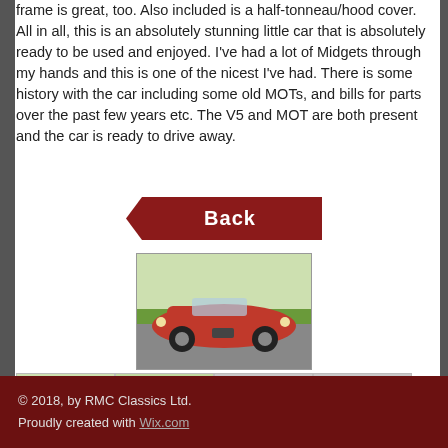frame is great, too. Also included is a half-tonneau/hood cover.
All in all, this is an absolutely stunning little car that is absolutely ready to be used and enjoyed. I've had a lot of Midgets through my hands and this is one of the nicest I've had. There is some history with the car including some old MOTs, and bills for parts over the past few years etc. The V5 and MOT are both present and the car is ready to drive away.
[Figure (other): Red arrow-shaped 'Back' navigation button]
[Figure (photo): Main photo of a red classic MG Midget convertible sports car, front three-quarter view]
[Figure (photo): Thumbnail 1: red MG Midget front view]
[Figure (photo): Thumbnail 2: red MG Midget interior/side view]
[Figure (other): Thumbnail 3: grey placeholder]
[Figure (other): Thumbnail 4: grey placeholder]
© 2018, by RMC Classics Ltd.
Proudly created with Wix.com